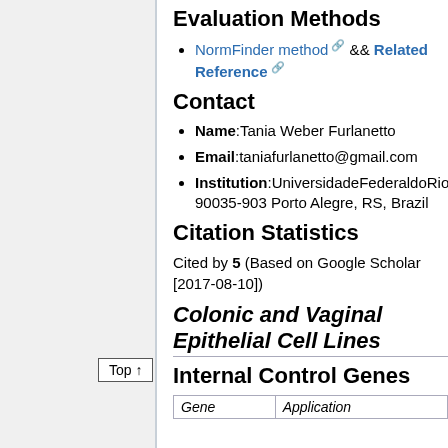Evaluation Methods
NormFinder method && Related Reference
Contact
Name:Tania Weber Furlanetto
Email:taniafurlanetto@gmail.com
Institution:UniversidadeFederaldoRioG 90035-903 Porto Alegre, RS, Brazil
Citation Statistics
Cited by 5 (Based on Google Scholar [2017-08-10])
Colonic and Vaginal Epithelial Cell Lines
Internal Control Genes
| Gene | Application |
| --- | --- |